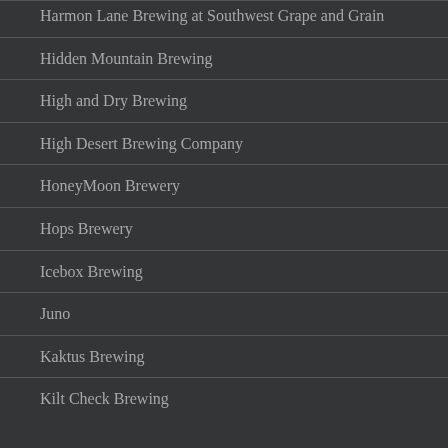Harmon Lane Brewing at Southwest Grape and Grain
Hidden Mountain Brewing
High and Dry Brewing
High Desert Brewing Company
HoneyMoon Brewery
Hops Brewery
Icebox Brewing
Juno
Kaktus Brewing
Kilt Check Brewing